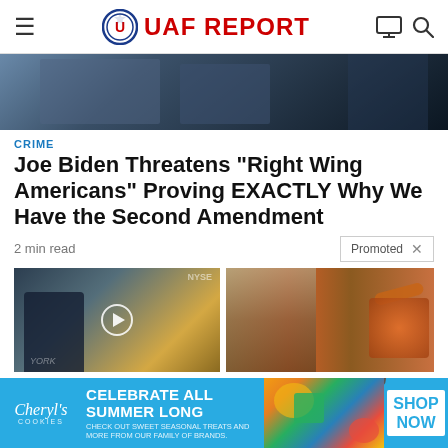UAF REPORT
[Figure (photo): Hero image showing a person in a dark suit at what appears to be a formal event or hearing, partially cropped]
CRIME
Joe Biden Threatens “Right Wing Americans” Proving EXACTLY Why We Have the Second Amendment
2 min read
Promoted ×
[Figure (photo): Thumbnail of a man being interviewed on a news set with NYSE ticker in background, with a play button overlay]
Biden Probably Wants
[Figure (photo): Thumbnail showing a muscular person and a spoon with orange spice powder]
A Teaspoon On An Empty
[Figure (photo): Advertisement banner for Cheryl's Cookies with colorful food items. Text: CELEBRATE ALL SUMMER LONG. CHECK OUT SWEET SEASONAL TREATS AND MORE FROM OUR FAMILY OF BRANDS. SHOP NOW]